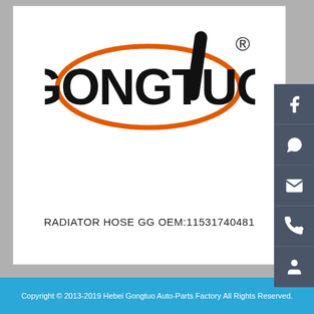[Figure (logo): GONGTUO company logo with orange ellipse and black text, registered trademark symbol]
RADIATOR HOSE GG OEM:11531740481
Copyright © 2013-2019 Hebei Gongtuo Auto-Parts Factory All Rights Reserved.